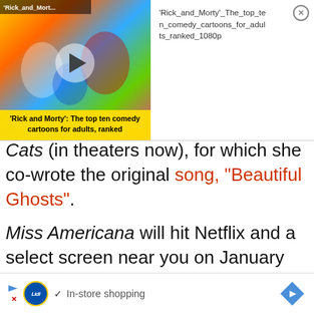[Figure (screenshot): Video thumbnail for 'Rick and Morty': The top ten comedy cartoons for adults, ranked — colorful animated characters with a play button overlay, and yellow caption bar at bottom]
'Rick_and_Mort...'
'Rick_and_Morty'_The_top_ten_comedy_cartoons_for_adults_ranked_1080p
Cats (in theaters now), for which she co-wrote the original song, "Beautiful Ghosts".
Miss Americana will hit Netflix and a select screen near you on January 31 and will have its world premiere on January 23 at Sundance Film Festival in Park City, Utah. In the meantime, check out the official movie poster!
[Figure (screenshot): Ad bar: Lidl logo, checkmark, 'In-store shopping' text, navigation arrow diamond icon]